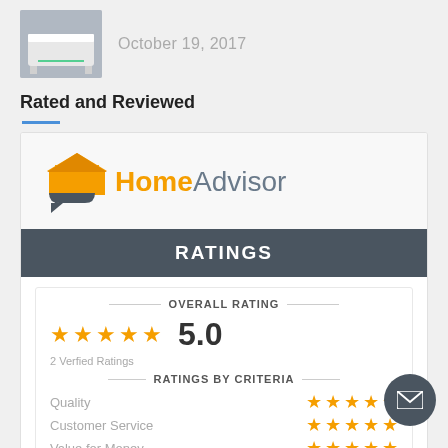[Figure (photo): Small thumbnail photo of a white piece of furniture (likely a bedside table or nightstand) with green LED lighting on a gray floor background]
October 19, 2017
Rated and Reviewed
[Figure (logo): HomeAdvisor logo with orange house/speech-bubble icon and text 'Home' in orange and 'Advisor' in gray]
RATINGS
OVERALL RATING
5.0
2 Verfied Ratings
RATINGS BY CRITERIA
Quality
Customer Service
Value for Money